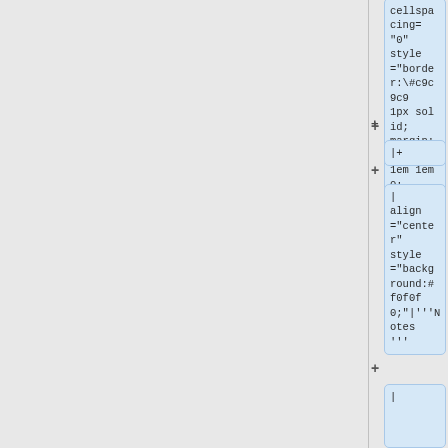[Figure (screenshot): Code editor screenshot showing wiki/HTML code snippets in blue highlighted boxes on a two-panel layout. Left panel is gray. Right panel shows code fragments: 'cellspacing="0" style="border:\#c9c9c9 1px solid; margin: 1em 1em 1em 0; border-collapse: collapse;"', '|+', '| align="center" style="background:#f0f0f0;"|'''Notes'''', and '|' (partial).]